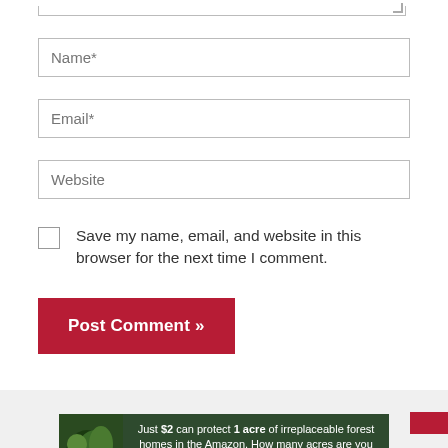[Figure (screenshot): Bottom edge of a textarea form field with resize handle visible]
Name*
Email*
Website
Save my name, email, and website in this browser for the next time I comment.
Post Comment »
[Figure (screenshot): Advertisement banner: 'Just $2 can protect 1 acre of irreplaceable forest homes in the Amazon. How many acres are you willing to protect?' with green PROTECT FORESTS NOW button and forest imagery]